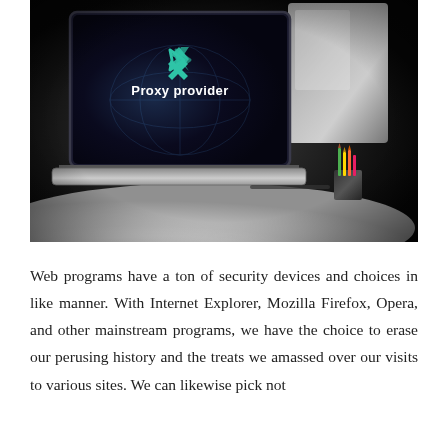[Figure (photo): A laptop computer on a round white desk displaying a 'Proxy provider' logo with a teal chevron icon on its dark screen. A pencil cup with colorful pencils is visible to the right. The background is dark and moody.]
Web programs have a ton of security devices and choices in like manner. With Internet Explorer, Mozilla Firefox, Opera, and other mainstream programs, we have the choice to erase our perusing history and the treats we amassed over our visits to various sites. We can likewise pick not